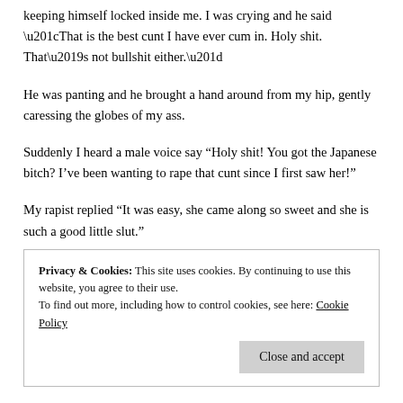keeping himself locked inside me. I was crying and he said “That is the best cunt I have ever cum in. Holy shit. That’s not bullshit either.”
He was panting and he brought a hand around from my hip, gently caressing the globes of my ass.
Suddenly I heard a male voice say “Holy shit! You got the Japanese bitch? I’ve been wanting to rape that cunt since I first saw her!”
My rapist replied “It was easy, she came along so sweet and she is such a good little slut.”
Privacy & Cookies: This site uses cookies. By continuing to use this website, you agree to their use.
To find out more, including how to control cookies, see here: Cookie Policy